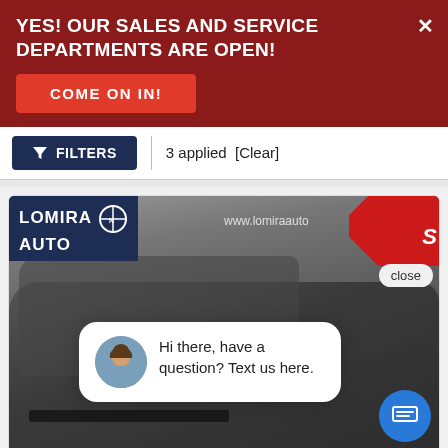YES! OUR SALES AND SERVICE DEPARTMENTS ARE OPEN!
COME ON IN!
FILTERS | 3 applied [Clear]
[Figure (photo): Screenshot of a car dealership website (Lomira Auto) showing a truck listing with a chat popup overlay saying 'Hi there, have a question? Text us here.' and a close button.]